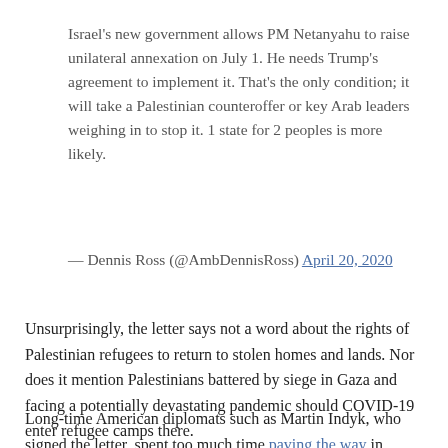Israel's new government allows PM Netanyahu to raise unilateral annexation on July 1. He needs Trump's agreement to implement it. That's the only condition; it will take a Palestinian counteroffer or key Arab leaders weighing in to stop it. 1 state for 2 peoples is more likely.
— Dennis Ross (@AmbDennisRoss) April 20, 2020
Unsurprisingly, the letter says not a word about the rights of Palestinian refugees to return to stolen homes and lands. Nor does it mention Palestinians battered by siege in Gaza and facing a potentially devastating pandemic should COVID-19 enter refugee camps there.
Long-time American diplomats such as Martin Indyk, who signed the letter, spent too much time paving the way in